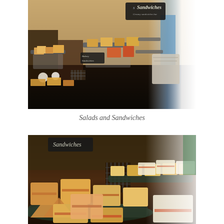[Figure (photo): A buffet display of sandwiches and salads arranged on tiered dark platters. Various sandwiches are visible along with signs including 'Sandwiches' in the background. Bright light visible on the right side.]
Salads and Sandwiches
[Figure (photo): Close-up view of a buffet sandwich display with various sandwiches arranged on dark tiered trays. A sign reading 'Sandwiches' is visible in the background. Sandwiches are cut into triangles and rectangles with visible fillings.]